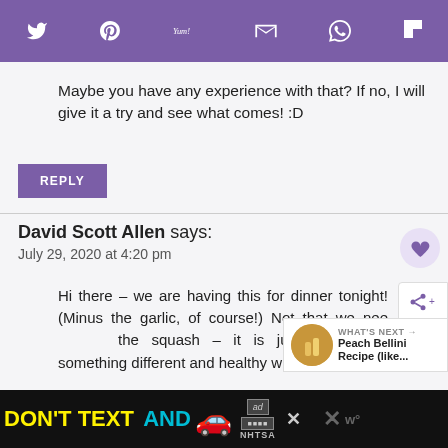[Figure (other): Purple social sharing toolbar with Twitter, Pinterest, Yummly, email, WhatsApp, and Flipboard icons in white]
Maybe you have any experience with that? If no, I will give it a try and see what comes! :D
REPLY
David Scott Allen says:
July 29, 2020 at 4:20 pm
Hi there – we are having this for dinner tonight! (Minus the garlic, of course!) Not that we need to hide the squash – it is just fun to do something different and healthy with it! Win-win!
[Figure (other): Advertisement banner: DON'T TEXT AND [car emoji] with NHTSA ad badge and close buttons]